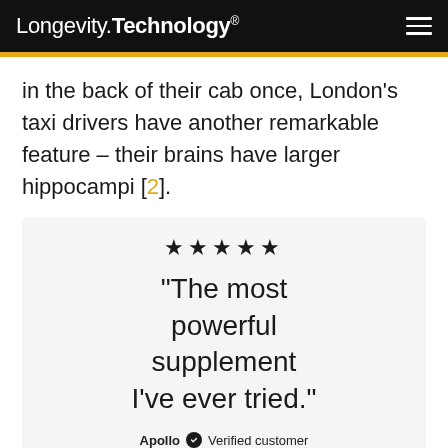Longevity.Technology®
in the back of their cab once, London's taxi drivers have another remarkable feature – their brains have larger hippocampi [2].
[Figure (infographic): Advertisement box with 5 gold stars, a customer testimonial quote reading '“The most powerful supplement I've ever tried.”', credited to Apollo, Verified customer, with a partial image of a dark supplement bottle/cap at the bottom.]